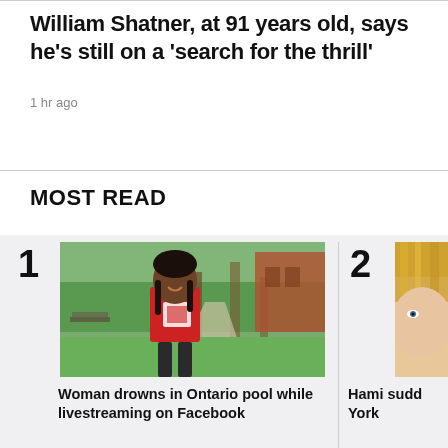William Shatner, at 91 years old, says he's still on a 'search for the thrill'
1 hr ago
MOST READ
1
[Figure (photo): A smiling woman wearing a red t-shirt standing outdoors on a path with trees and a brick building in the background.]
Woman drowns in Ontario pool while livestreaming on Facebook
2
[Figure (photo): Partial view of a person with blonde hair, cropped at the edge.]
Hami sudd York